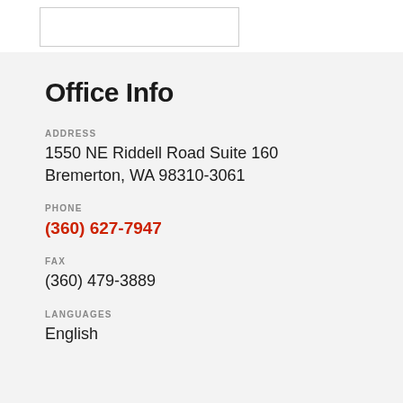[Figure (other): Empty bordered image/logo placeholder box]
Office Info
ADDRESS
1550 NE Riddell Road Suite 160
Bremerton, WA 98310-3061
PHONE
(360) 627-7947
FAX
(360) 479-3889
LANGUAGES
English